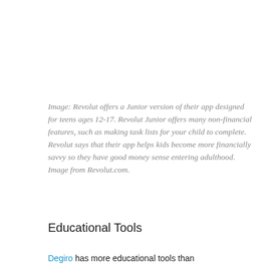Image: Revolut offers a Junior version of their app designed for teens ages 12-17. Revolut Junior offers many non-financial features, such as making task lists for your child to complete. Revolut says that their app helps kids become more financially savvy so they have good money sense entering adulthood. Image from Revolut.com.
Educational Tools
Degiro has more educational tools than